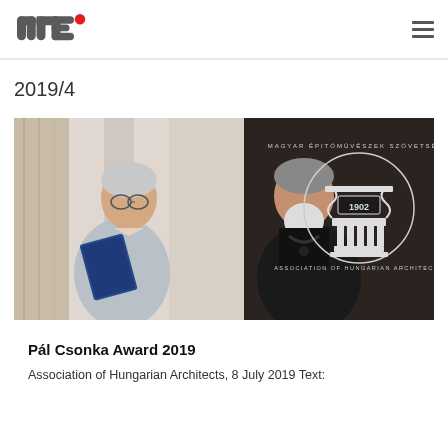ME logo and navigation menu
2019/4
[Figure (photo): Two men standing at an award ceremony. The man on the left holds a blue book/certificate. On the right side of the image is a dark banner with the logo and text 'Magyar Épitőmüvészek Szövetsége / Association of Hungarian Architects' with '1902' in the center of a column emblem.]
Pál Csonka Award 2019
Association of Hungarian Architects, 8 July 2019 Text: